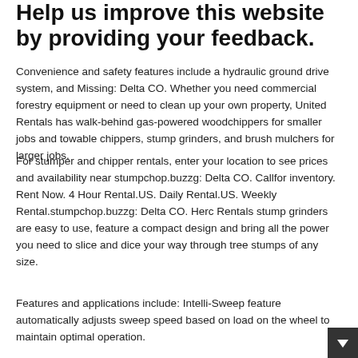Help us improve this website by providing your feedback.
Convenience and safety features include a hydraulic ground drive system, and Missing: Delta CO. Whether you need commercial forestry equipment or need to clean up your own property, United Rentals has walk-behind gas-powered woodchippers for smaller jobs and towable chippers, stump grinders, and brush mulchers for larger jobs.
For stumper and chipper rentals, enter your location to see prices and availability near stumpchop.buzzg: Delta CO. Callfor inventory. Rent Now. 4 Hour Rental.US. Daily Rental.US. Weekly Rental.stumpchop.buzzg: Delta CO. Herc Rentals stump grinders are easy to use, feature a compact design and bring all the power you need to slice and dice your way through tree stumps of any size.
Features and applications include: Intelli-Sweep feature automatically adjusts sweep speed based on load on the wheel to maintain optimal operation.